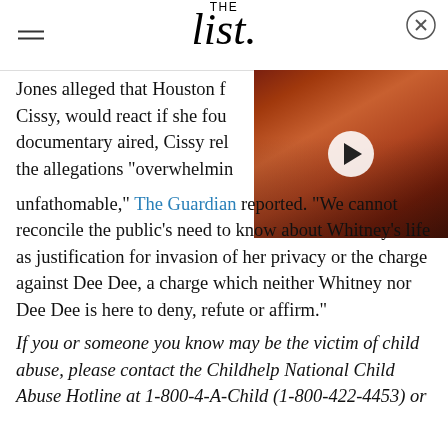THE list
[Figure (photo): Video thumbnail of a woman with auburn/red hair, with a play button overlay]
Jones alleged that Houston family member, Cissy, would react if she found out. After the documentary aired, Cissy released a statement calling the allegations "overwhelmingly and, to us, unfathomable," The Guardian reported. "We cannot reconcile the public's need to know about Whitney's life as justification for invasion of her privacy or the charge against Dee Dee, a charge which neither Whitney nor Dee Dee is here to deny, refute or affirm."
If you or someone you know may be the victim of child abuse, please contact the Childhelp National Child Abuse Hotline at 1-800-4-A-Child (1-800-422-4453) or